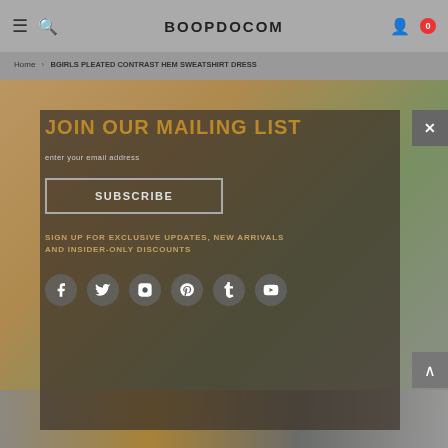BOOPDOCOM
Home › BGIRLS PLEATED CONTRAST HEM SWEATSHIRT DRESS
[Figure (photo): Woman wearing mustard/brown sweatshirt jacket over leopard print top with white skirt, standing near green plants — e-commerce fashion product photo]
JOIN OUR MAILING LIST
enter your email address
SUBSCRIBE
SIGN UP FOR EXCLUSIVE UPDATES, NEW ARRIVALS AND INSIDER-ONLY DISCOUNTS
[Figure (other): Social media icon buttons row: Facebook, Twitter, Instagram, Pinterest, Tumblr, YouTube]